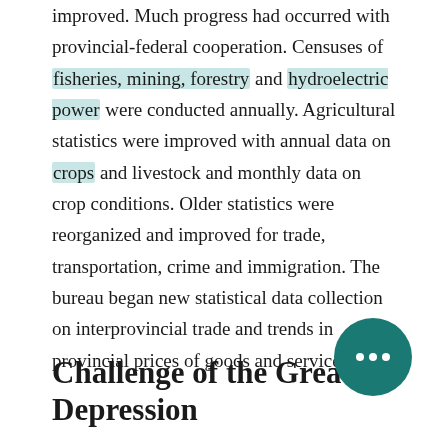improved. Much progress had occurred with provincial-federal cooperation. Censuses of fisheries, mining, forestry and hydroelectric power were conducted annually. Agricultural statistics were improved with annual data on crops and livestock and monthly data on crop conditions. Older statistics were reorganized and improved for trade, transportation, crime and immigration. The bureau began new statistical data collection on interprovincial trade and trends in provincial prices of goods and services.
Challenge of the Great Depression